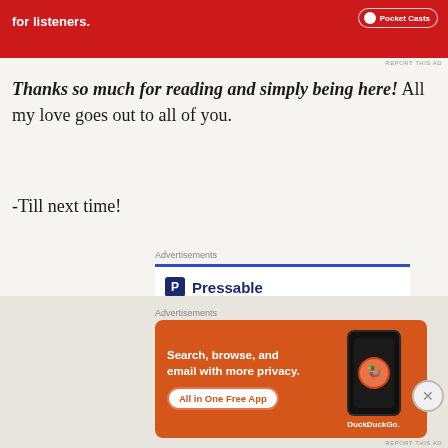[Figure (screenshot): Red Pocket Casts advertisement banner at the top of the page with white text 'for listeners.' and a phone device image]
Thanks so much for reading and simply being here! All my love goes out to all of you.
-Till next time!
[Figure (screenshot): Pressable advertisement showing the Pressable logo with 'P' icon, dots, and 'The Platform' text in dark blue]
[Figure (screenshot): DuckDuckGo advertisement with orange background, text 'Search, browse, and email with more privacy. All in One Free App' and DuckDuckGo logo on a phone mockup]